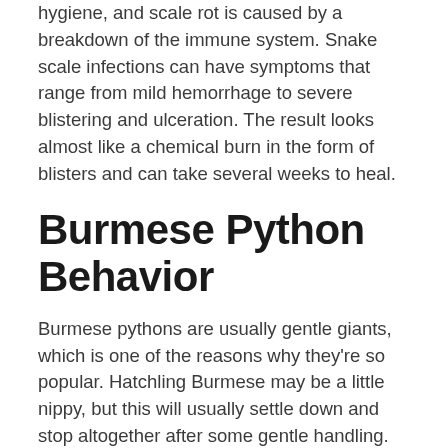hygiene, and scale rot is caused by a breakdown of the immune system. Snake scale infections can have symptoms that range from mild hemorrhage to severe blistering and ulceration. The result looks almost like a chemical burn in the form of blisters and can take several weeks to heal.
Burmese Python Behavior
Burmese pythons are usually gentle giants, which is one of the reasons why they're so popular. Hatchling Burmese may be a little nippy, but this will usually settle down and stop altogether after some gentle handling. Other young Burmese may try to squirm away or bite repeatedly and defecate when restrained, and some are plain nasty no matter how much they are handled.
If docility is an important quality in your new pet Burmese, it's extremely important that you pay attention when selecting your Burmese python in